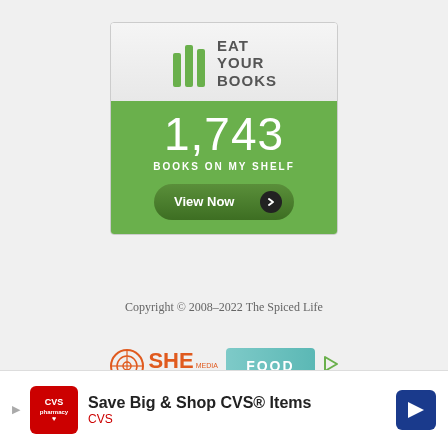[Figure (logo): Eat Your Books widget showing 1,743 books on my shelf with a View Now button. Green and white widget with book logo.]
Copyright © 2008–2022 The Spiced Life
[Figure (logo): SHE Media Collective Food badge with play icon and Learn More | Privacy links]
[Figure (screenshot): CVS advertisement: Save Big & Shop CVS® Items with CVS logo and navigation arrow icon]